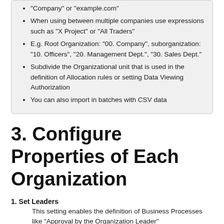"Company" or "example.com"
When using between multiple companies use expressions such as "X Project" or "All Traders"
E.g. Root Organization: "00. Company", suborganization: "10. Officers", "20. Management Dept.", "30. Sales Dept."
Subdivide the Organizational unit that is used in the definition of Allocation rules or setting Data Viewing Authorization
You can also import in batches with CSV data
3. Configure Properties of Each Organization
1. Set Leaders
This setting enables the definition of Business Processes like "Approval by the Organization Leader"
2. Set Organizational Address
This setting enables the definition of Business Processes like "Auto-sending Emails to all members of an organization"